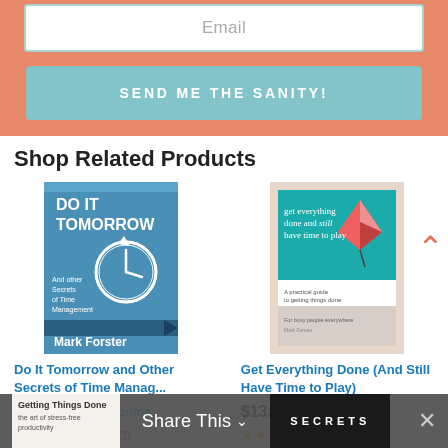Email
SEND ME THE SANITY!
Shop Related Products
[Figure (illustration): Book cover: Do It Tomorrow and Other Secrets of Time Management by Mark Forster. Blue cover with clock icon.]
Do It Tomorrow and Other Secrets of Time Manag...
$17.01  $19.99  ✓prime
★★★★½ (163)
[Figure (illustration): Book cover: Get Everything Done (And Still Have Time to Play). Teal cover with paper kite graphic.]
Get Everything Done (And Still Have Time to Play)
$13.51
★★★★½ (71)
[Figure (illustration): Partial bottom book covers and Share This bar overlay]
Share This ˅